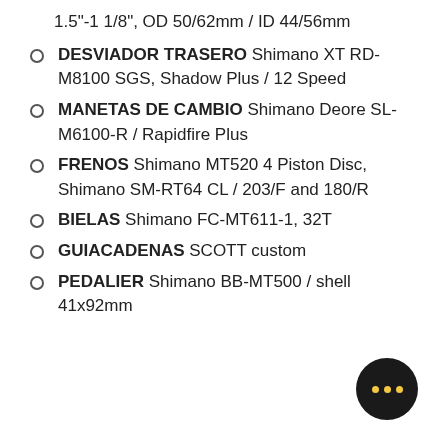1.5"-1 1/8", OD 50/62mm / ID 44/56mm
DESVIADOR TRASERO Shimano XT RD-M8100 SGS, Shadow Plus / 12 Speed
MANETAS DE CAMBIO Shimano Deore SL-M6100-R / Rapidfire Plus
FRENOS Shimano MT520 4 Piston Disc, Shimano SM-RT64 CL / 203/F and 180/R
BIELAS Shimano FC-MT611-1, 32T
GUIACADENAS SCOTT custom
PEDALIER Shimano BB-MT500 / shell 41x92mm